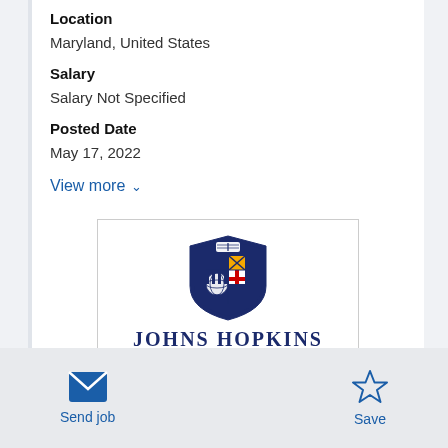Location
Maryland, United States
Salary
Salary Not Specified
Posted Date
May 17, 2022
View more
[Figure (logo): Johns Hopkins University shield logo with text JOHNS HOPKINS UNIVERSITY]
Send job
Save